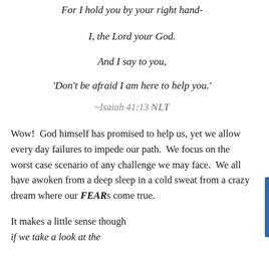For I hold you by your right hand-
I, the Lord your God.
And I say to you,
'Don't be afraid I am here to help you.'
~Isaiah 41:13 NLT
Wow!  God himself has promised to help us, yet we allow every day failures to impede our path.  We focus on the worst case scenario of any challenge we may face.  We all have awoken from a deep sleep in a cold sweat from a crazy dream where our FEARs come true.
It makes a little sense though if we take a look at the